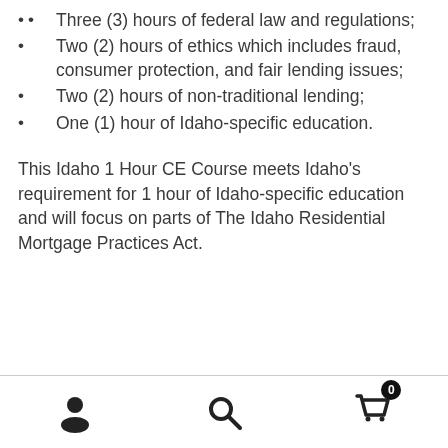Three (3) hours of federal law and regulations;
Two (2) hours of ethics which includes fraud, consumer protection, and fair lending issues;
Two (2) hours of non-traditional lending;
One (1) hour of Idaho-specific education.
This Idaho 1 Hour CE Course meets Idaho’s requirement for 1 hour of Idaho-specific education and will focus on parts of The Idaho Residential Mortgage Practices Act.
[navigation icons: user, search, cart(0)]